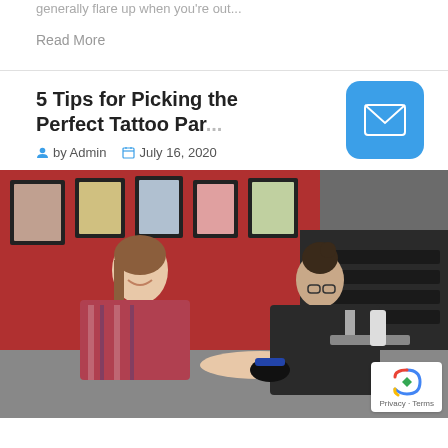generally flare up when you're out...
Read More
5 Tips for Picking the Perfect Tattoo Par...
by Admin   July 16, 2020
[Figure (photo): A tattoo artist working on a client's forearm in a tattoo parlor. The client is a smiling woman in a plaid shirt. The artist, wearing black gloves and glasses, bends over the client's arm. The background shows framed tattoo artwork on red walls and black equipment drawers.]